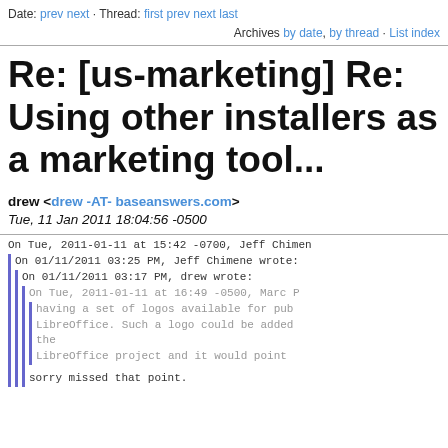Date: prev next · Thread: first prev next last Archives by date, by thread · List index
Re: [us-marketing] Re: Using other installers as a marketing tool...
drew <drew -AT- baseanswers.com>
Tue, 11 Jan 2011 18:04:56 -0500
On Tue, 2011-01-11 at 15:42 -0700, Jeff Chimen
  On 01/11/2011 03:25 PM, Jeff Chimene wrote:
    On 01/11/2011 03:17 PM, drew wrote:
      On Tue, 2011-01-11 at 16:49 -0500, Marc P
        having a set of logos available for pub
        LibreOffice. Such a logo could be added
        the
        LibreOffice project and it would point

      sorry missed that point.